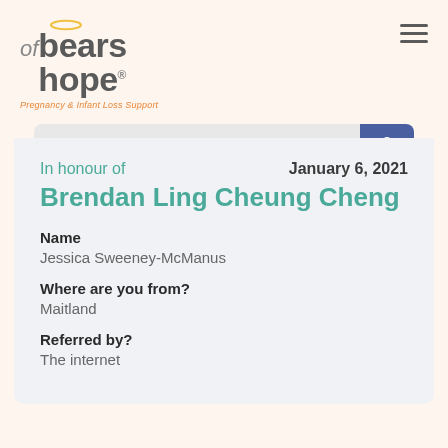[Figure (logo): Bears of Hope logo with halo, tagline 'Pregnancy & Infant Loss Support']
In honour of
January 6, 2021
Brendan Ling Cheung Cheng
Name
Jessica Sweeney-McManus
Where are you from?
Maitland
Referred by?
The internet